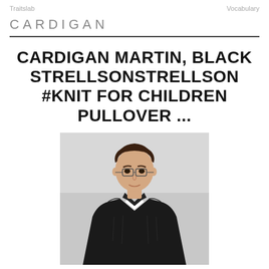Traitslab | Vocabulary
CARDIGAN
CARDIGAN MARTIN, BLACK STRELLSONSTRELLSON #KNIT FOR CHILDREN PULLOVER ...
[Figure (photo): A man wearing a black cardigan/knit pullover with a mandarin collar, photographed against a light grey background. The model has short dark hair and is shown from approximately waist up.]